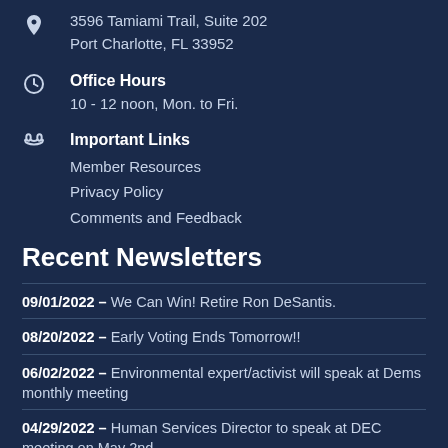3596 Tamiami Trail, Suite 202
Port Charlotte, FL 33952
Office Hours
10 - 12 noon, Mon. to Fri.
Important Links
Member Resources
Privacy Policy
Comments and Feedback
Recent Newsletters
09/01/2022 – We Can Win! Retire Ron DeSantis.
08/20/2022 – Early Voting Ends Tomorrow!!
06/02/2022 – Environmental expert/activist will speak at Dems monthly meeting
04/29/2022 – Human Services Director to speak at DEC meeting on May 2nd.
04/20/2022 – Join fellow Dems at local events of all